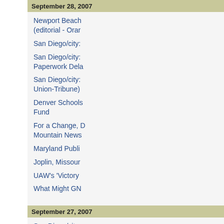September 28, 2007
Newport Beach (editorial - Ora...
San Diego/city:
San Diego/city: Paperwork Dela...
San Diego/city: Union-Tribune)
Denver Schools Fund
For a Change, D Mountain News...
Maryland Publi...
Joplin, Missour...
UAW's 'Victory...
What Might GM...
September 27, 2007
San Diego/city: Pension Disput...
Sutter County, C Says
Middle East Is A...